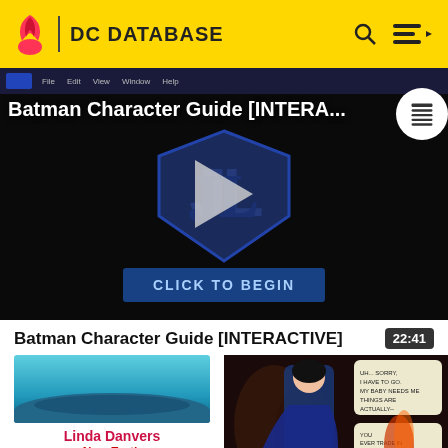DC DATABASE
[Figure (screenshot): Batman Character Guide [INTERACTIVE] video thumbnail with Justice League logo and play button on dark background]
Batman Character Guide [INTERACTIVE]
22:41
[Figure (screenshot): Comic art showing blue and teal landscape panel - Linda Danvers card]
Linda Danvers
New Earth
Earth Angel
[Figure (screenshot): Comic art panel showing a female character with dark hair in costume with speech bubbles]